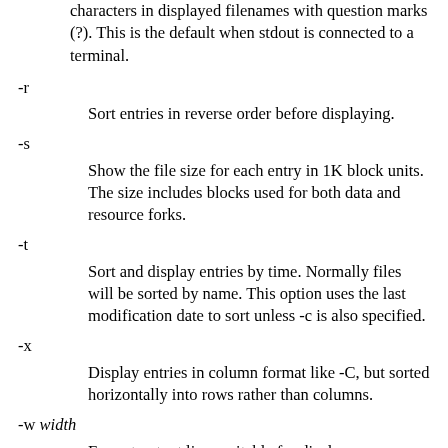characters in displayed filenames with question marks (?). This is the default when stdout is connected to a terminal.
-r
Sort entries in reverse order before displaying.
-s
Show the file size for each entry in 1K block units. The size includes blocks used for both data and resource forks.
-t
Sort and display entries by time. Normally files will be sorted by name. This option uses the last modification date to sort unless -c is also specified.
-x
Display entries in column format like -C, but sorted horizontally into rows rather than columns.
-w width
Format output lines suitable for display